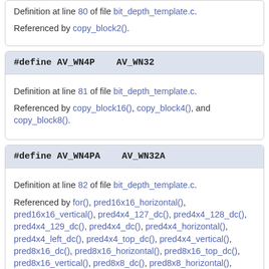Definition at line 80 of file bit_depth_template.c.
Referenced by copy_block2().
#define AV_WN4P   AV_WN32
Definition at line 81 of file bit_depth_template.c.
Referenced by copy_block16(), copy_block4(), and copy_block8().
#define AV_WN4PA   AV_WN32A
Definition at line 82 of file bit_depth_template.c.
Referenced by for(), pred16x16_horizontal(), pred16x16_vertical(), pred4x4_127_dc(), pred4x4_128_dc(), pred4x4_129_dc(), pred4x4_dc(), pred4x4_horizontal(), pred4x4_left_dc(), pred4x4_top_dc(), pred4x4_vertical(), pred8x16_dc(), pred8x16_horizontal(), pred8x16_top_dc(), pred8x16_vertical(), pred8x8_dc(), pred8x8_horizontal(), pred8x8_top_dc(), pred8x8_vertical(), pred8x8l_vertical().